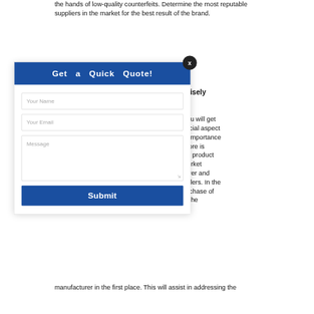the hands of low-quality counterfeits. Determine the most reputable suppliers in the market for the best result of the brand.
Wisely
you will get rucial aspect e importance store is eit product harket turer and tailers. In the urchase of e the manufacturer in the first place. This will assist in addressing the
[Figure (screenshot): A modal popup dialog with a blue header reading 'Get a Quick Quote!' with a dark close button (X) in the top right. The form contains fields for 'Your Name', 'Your Email', a 'Message' textarea, and a blue 'Submit' button.]